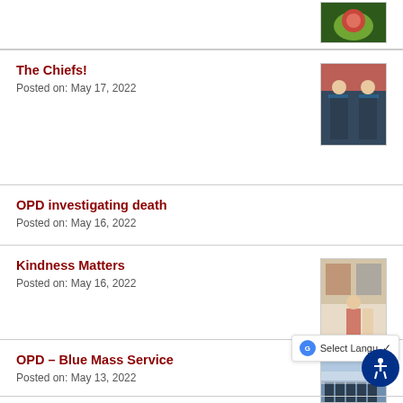[Figure (photo): Partial image at top of page – cropped food/bowl illustration]
The Chiefs!
Posted on: May 17, 2022
[Figure (photo): Two men in navy uniforms standing under a red canopy]
OPD investigating death
Posted on: May 16, 2022
Kindness Matters
Posted on: May 16, 2022
[Figure (photo): People standing in a room with artwork on the wall]
OPD – Blue Mass Service
Posted on: May 13, 2022
[Figure (photo): Group of uniformed officers standing together]
OPD - Water Donation
[Figure (photo): Partial image – outdoor scene with greenery]